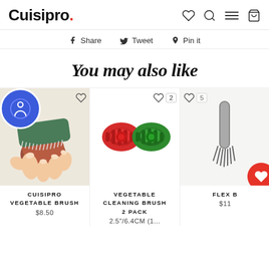Cuisipro. [navigation icons: wishlist, search, menu, cart]
Share  Tweet  Pin it
You may also like
[Figure (photo): Hand holding a red potato and scrubbing it with a green Cuisipro Vegetable Brush. Accessibility icon overlay (blue circle with person icon) on bottom-left.]
CUISIPRO VEGETABLE BRUSH
$8.50
[Figure (photo): Two silicone vegetable cleaning brushes, one red and one green, side by side. Wishlist badge showing 2 likes.]
VEGETABLE CLEANING BRUSH 2 PACK
2.5"/6.4CM (1...
[Figure (photo): Partial view of a Flex B product with a filled red heart icon. Wishlist badge partially visible.]
FLEX B
$11